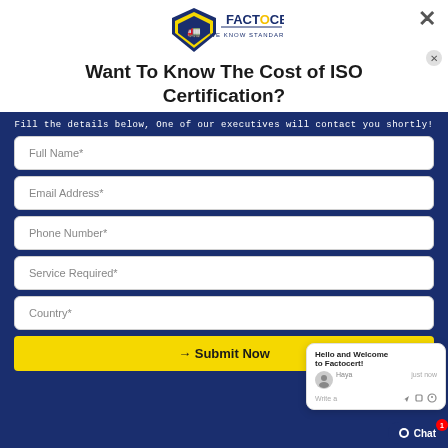[Figure (logo): Factocert logo with shield icon and tagline 'WE KNOW STANDARDS']
Want To Know The Cost of ISO Certification?
Fill the details below, One of our executives will contact you shortly!
Full Name*
Email Address*
Phone Number*
Service Required*
Country*
→ Submit Now
Hello and Welcome to Factocert!
Haya   just now
Write a